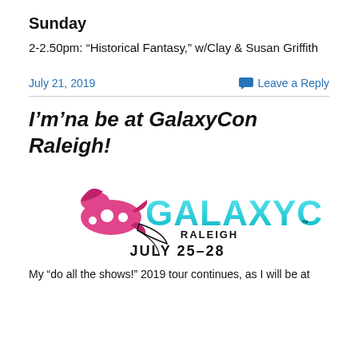Sunday
2-2.50pm: “Historical Fantasy,” w/Clay & Susan Griffith
July 21, 2019
Leave a Reply
I’m’na be at GalaxyCon Raleigh!
[Figure (logo): GalaxyCon Raleigh logo with a pink rocket ship and teal stylized text reading GALAXYCON RALEIGH JULY 25-28]
My “do all the shows!” 2019 tour continues, as I will be at